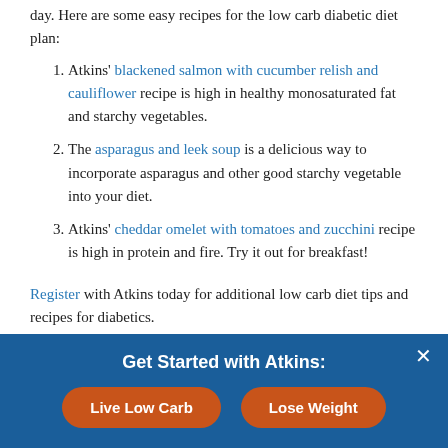day. Here are some easy recipes for the low carb diabetic diet plan:
Atkins' blackened salmon with cucumber relish and cauliflower recipe is high in healthy monosaturated fat and starchy vegetables.
The asparagus and leek soup is a delicious way to incorporate asparagus and other good starchy vegetable into your diet.
Atkins' cheddar omelet with tomatoes and zucchini recipe is high in protein and fire. Try it out for breakfast!
Register with Atkins today for additional low carb diet tips and recipes for diabetics.
Get Started with Atkins: